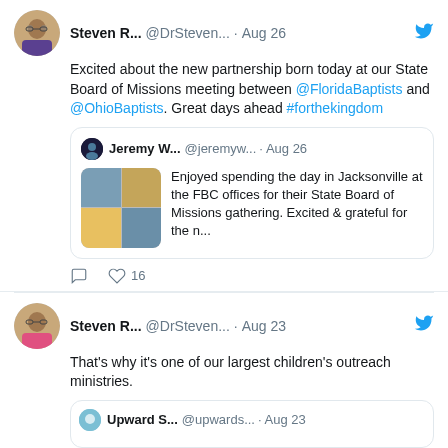[Figure (screenshot): Twitter/social media feed screenshot showing two tweets from Steven R. and a quoted tweet from Jeremy W.]
Steven R... @DrSteven... · Aug 26 — Excited about the new partnership born today at our State Board of Missions meeting between @FloridaBaptists and @OhioBaptists. Great days ahead #forthekingdom
Jeremy W... @jeremyw... · Aug 26 — Enjoyed spending the day in Jacksonville at the FBC offices for their State Board of Missions gathering. Excited & grateful for the n...
Steven R... @DrSteven... · Aug 23 — That's why it's one of our largest children's outreach ministries.
Upward S... @upwards... · Aug 23